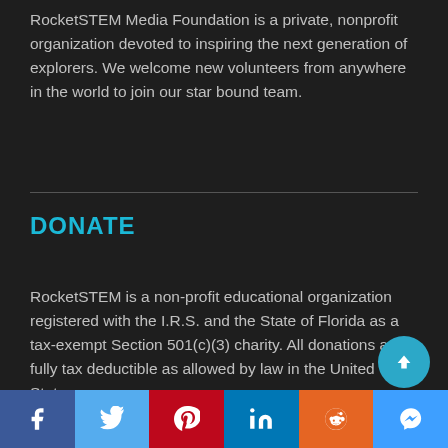RocketSTEM Media Foundation is a private, nonprofit organization devoted to inspiring the next generation of explorers. We welcome new volunteers from anywhere in the world to join our star bound team.
DONATE
RocketSTEM is a non-profit educational organization registered with the I.R.S. and the State of Florida as a tax-exempt Section 501(c)(3) charity. All donations are fully tax deductible as allowed by law in the United States.
[Figure (other): Social media sharing bar with Facebook, Twitter, Pinterest, LinkedIn, Reddit, and Messenger buttons]